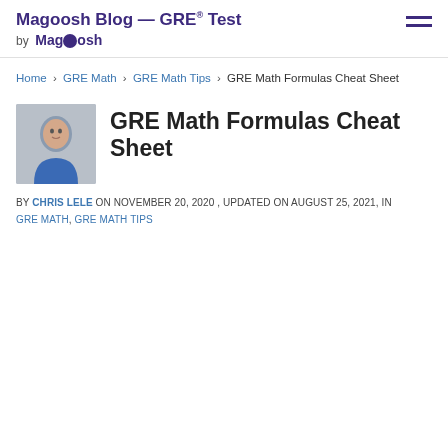Magoosh Blog — GRE® Test by Magoosh
Home › GRE Math › GRE Math Tips › GRE Math Formulas Cheat Sheet
GRE Math Formulas Cheat Sheet
BY CHRIS LELE ON NOVEMBER 20, 2020 , UPDATED ON AUGUST 25, 2021, IN GRE MATH, GRE MATH TIPS